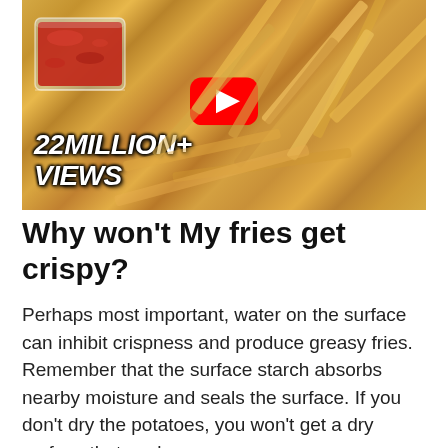[Figure (photo): YouTube video thumbnail showing crispy seasoned french fries with a small glass bowl of ketchup, YouTube play button in center, and text overlay '22MILLION+ VIEWS' in bold italic white text with dark outline]
Why won't My fries get crispy?
Perhaps most important, water on the surface can inhibit crispness and produce greasy fries. Remember that the surface starch absorbs nearby moisture and seals the surface. If you don't dry the potatoes, you won't get a dry surface that seals.